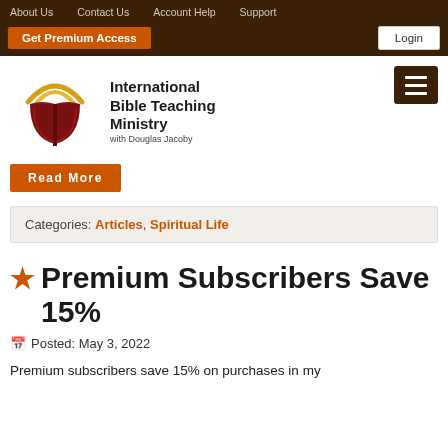About Us | Contact Us | Account Help | Support
Get Premium Access | Login
[Figure (logo): International Bible Teaching Ministry logo with open book and golden arc, text: International Bible Teaching Ministry with Douglas Jacoby]
Read More
Categories: Articles, Spiritual Life
★ Premium Subscribers Save 15%
Posted: May 3, 2022
Premium subscribers save 15% on purchases in my